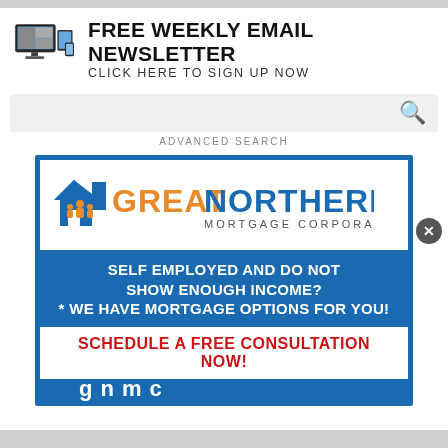[Figure (screenshot): Screenshot of a news website page showing a newsletter signup banner, search bar, and an advertisement for Great Northern Mortgage Corporation]
FREE WEEKLY EMAIL NEWSLETTER
CLICK HERE TO SIGN UP NOW
ADVANCED SEARCH
[Figure (infographic): Great Northern Mortgage Corporation advertisement banner. Logo with house icon and family figures. Text reads: SELF EMPLOYED AND DO NOT SHOW ENOUGH INCOME? * WE HAVE MORTGAGE OPTIONS FOR YOU! SCHEDULE A FREE CONSULTATION NOW!]